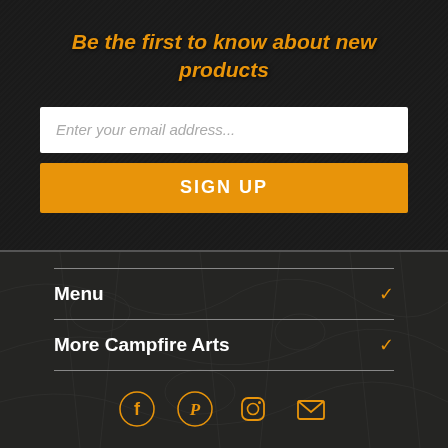Be the first to know about new products
Enter your email address...
SIGN UP
Menu
More Campfire Arts
[Figure (infographic): Social media icons: Facebook, Pinterest, Instagram, Email]